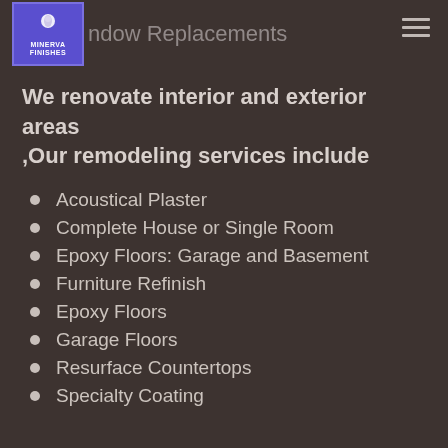Minerva Finishes — ndow Replacements
We renovate interior and exterior areas ,Our remodeling services include
Acoustical Plaster
Complete House or Single Room
Epoxy Floors: Garage and Basement
Furniture Refinish
Epoxy Floors
Garage Floors
Resurface Countertops
Specialty Coating